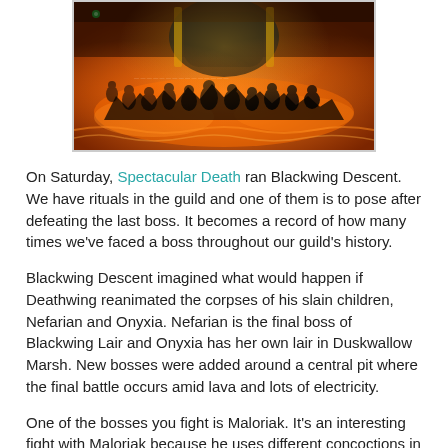[Figure (screenshot): Screenshot from a video game (likely World of Warcraft) showing player characters posing in a lava-filled dungeon environment (Blackwing Descent), with orange/red glowing lava floor and dark silhouettes of characters. A large dark creature or boss is visible in the background.]
On Saturday, Spectacular Death ran Blackwing Descent. We have rituals in the guild and one of them is to pose after defeating the last boss. It becomes a record of how many times we've faced a boss throughout our guild's history.
Blackwing Descent imagined what would happen if Deathwing reanimated the corpses of his slain children, Nefarian and Onyxia. Nefarian is the final boss of Blackwing Lair and Onyxia has her own lair in Duskwallow Marsh. New bosses were added around a central pit where the final battle occurs amid lava and lots of electricity.
One of the bosses you fight is Maloriak. It's an interesting fight with Maloriak because he uses different concoctions in his